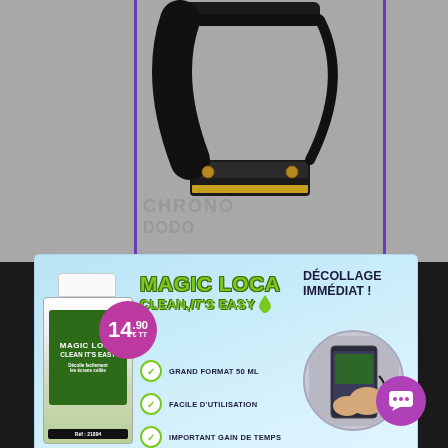[Figure (photo): Product image of a flat flex cable on grey background with purple vertical border lines, with CHRONO watermark text]
[Figure (infographic): Magic Loca Clean It's Easy product advertisement banner showing a bottle with price 14.90 EUR, features: Grand Format 50 ML, Facile d'utilisation, Important Gain de Temps, with Décollage Immédiat text and phone repair image, Exclusivité branding]
Ce site internet utilise des cookies afin d'améliorer votre expérience de navigation.
En visitant notre site internet, vous acceptez l'utilisation de tous ces cookies.
J'accepte